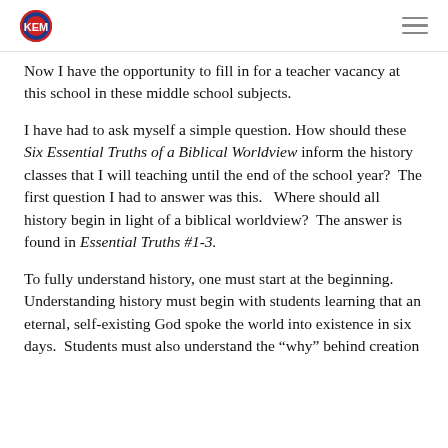KEM logo and navigation menu
Now I have the opportunity to fill in for a teacher vacancy at this school in these middle school subjects.
I have had to ask myself a simple question. How should these Six Essential Truths of a Biblical Worldview inform the history classes that I will teaching until the end of the school year?  The first question I had to answer was this.   Where should all history begin in light of a biblical worldview?  The answer is found in Essential Truths #1-3.
To fully understand history, one must start at the beginning.  Understanding history must begin with students learning that an eternal, self-existing God spoke the world into existence in six days.  Students must also understand the “why” behind creation